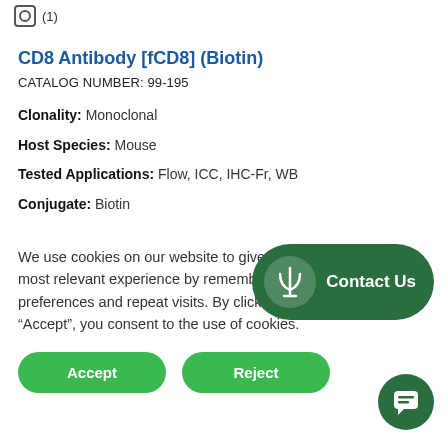(1)
CD8 Antibody [fCD8] (Biotin)
CATALOG NUMBER: 99-195
Clonality: Monoclonal
Host Species: Mouse
Tested Applications: Flow, ICC, IHC-Fr, WB
Conjugate: Biotin
We use cookies on our website to give you the most relevant experience by remembering your preferences and repeat visits. By clicking “Accept”, you consent to the use of cookies.
[Figure (other): Green rounded rectangle button labeled Contact Us with a Psi symbol icon on the left]
[Figure (other): Green circular chat bubble icon button]